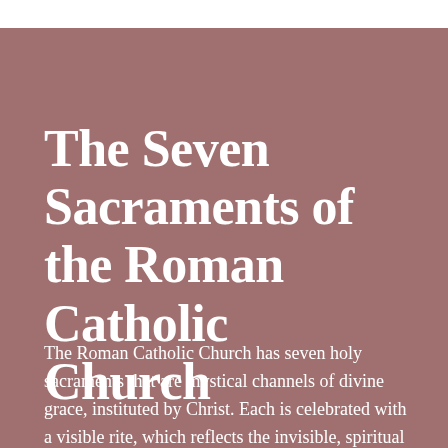The Seven Sacraments of the Roman Catholic Church
The Roman Catholic Church has seven holy sacraments that are mystical channels of divine grace, instituted by Christ. Each is celebrated with a visible rite, which reflects the invisible, spiritual essence of the